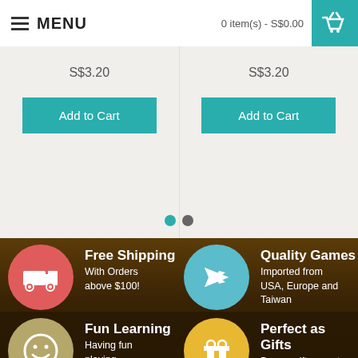MENU | 0 item(s) - S$0.00
S$3.20
S$3.20
Add to Cart
Add to Cart
[Figure (infographic): Feature icons section on dark brown background with tree silhouettes. Four feature blocks: 1) Red circle with truck icon - Free Shipping, With Orders above $100! 2) Blue circle with plane icon - Quality Games, Imported from USA, Europe and Taiwan. 3) Tan circle with smiley icon - Fun Learning, Having fun playing boardgame while learning. 4) Yellow circle with gift icon - Perfect as Gifts, Buy as gifts or set up a gift registry with us here!]
Information